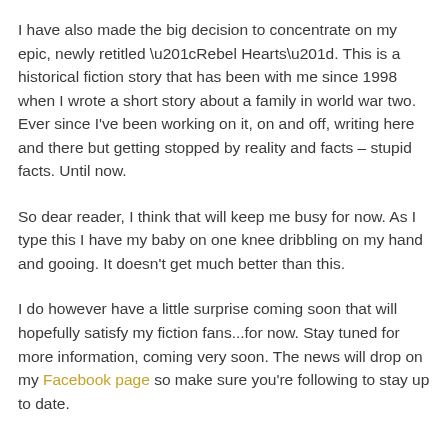I have also made the big decision to concentrate on my epic, newly retitled “Rebel Hearts”. This is a historical fiction story that has been with me since 1998 when I wrote a short story about a family in world war two. Ever since I’ve been working on it, on and off, writing here and there but getting stopped by reality and facts – stupid facts. Until now.
So dear reader, I think that will keep me busy for now. As I type this I have my baby on one knee dribbling on my hand and gooing. It doesn’t get much better than this.
I do however have a little surprise coming soon that will hopefully satisfy my fiction fans...for now. Stay tuned for more information, coming very soon. The news will drop on my Facebook page so make sure you’re following to stay up to date.